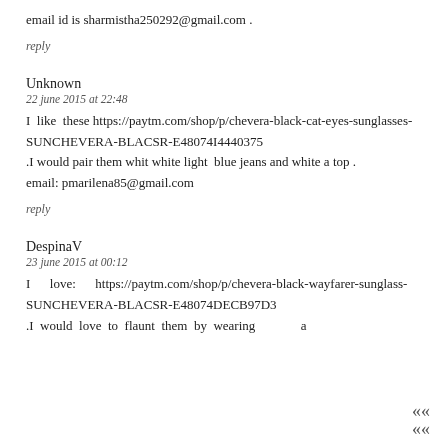email id is sharmistha250292@gmail.com .
reply
Unknown
22 june 2015 at 22:48
I like these https://paytm.com/shop/p/chevera-black-cat-eyes-sunglasses-SUNCHEVERA-BLACSR-E48074I4440375
.I would pair them whit white light blue jeans and white a top .
email: pmarilena85@gmail.com
reply
DespinaV
23 june 2015 at 00:12
I love: https://paytm.com/shop/p/chevera-black-wayfarer-sunglass-SUNCHEVERA-BLACSR-E48074DECB97D3